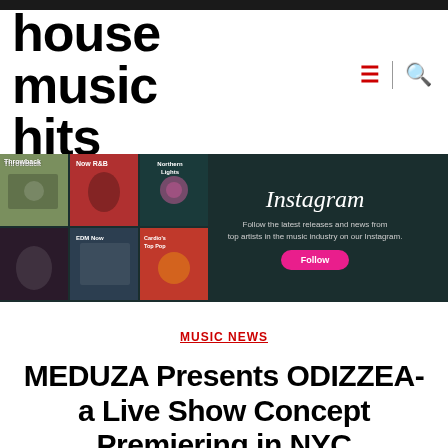[Figure (logo): House Music Hits logo in bold black lowercase text]
[Figure (screenshot): Instagram promotional banner with music playlist grid thumbnails including Throwback, Now R&B, Northern Lights, EDM Now, Cardio's Top Pop categories, and Instagram follow call to action on dark teal background]
MUSIC NEWS
MEDUZA Presents ODIZZEA- a Live Show Concept Premiering in NYC